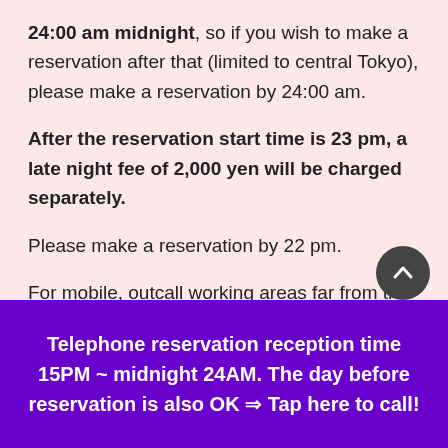24:00 am midnight, so if you wish to make a reservation after that (limited to central Tokyo), please make a reservation by 24:00 am.
After the reservation start time is 23 pm, a late night fee of 2,000 yen will be charged separately.
Please make a reservation by 22 pm.
For mobile, outcall working areas far from the city center, please make a reservation by 19pm for city hotels in Makuhari, Chiba,
Telephone reservation reception time 15PM ~ midnight 24AM. The day before reservation is also OK ⇒ Tap here to call!